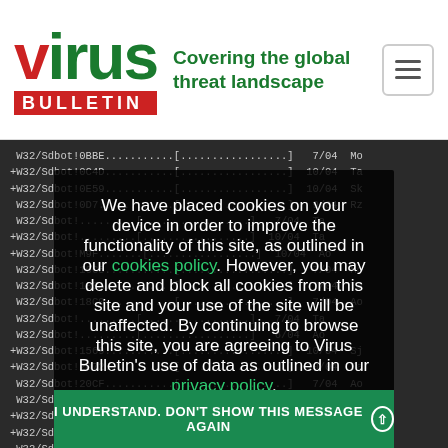[Figure (logo): Virus Bulletin logo: green 'virus' text with red dot over letter i, red rectangle with white 'BULLETIN' text, green tagline 'Covering the global threat landscape']
| Name | Dots | Date | Ab |
| --- | --- | --- | --- |
| W32/Sdbot!0BBE | ...........[.................] | 7/04 | Mo |
| +W32/Sdbot!0C4D | ...........[.................] | 10/04 | Ta |
| +W32/Sdbot!0E59 | ...........[.................] | 10/04 | Sk |
| W32/Sdbot!0D7.. | ...........[.................] | 9/04 | Rz |
| W32/Sdbot..... | ...........[.................] | 7/04 | Ta |
| +W32/Sdbot..... | ...........[.................] | 10/04 | Ta |
| +W32/Sdbot!M9F. | ...........[.................] | 10/04 | Ao |
| W32/Sdbot!16C5 | ...........[.................] | 7/04 | Mo |
| W32/Sdbot!183A | ...........[.................] | 7/04 | Ta |
| W32/Sdbot!18C0 | ...........[.................] | 7/04 | Ao |
| W32/Sdbot..... | ...........[.................] | 7/04 | Ta |
| W32/Sdbot..... | ...........[.................] | 6/04 | Ao |
| +W32/Sdbot!1569 | ...........[.................] | 10/04 | Sj |
| +W32/Sdbot!2072 | ...........[.................] | 10/04 | Ta |
| W32/Sdbot!20CF | ...........[.................] | 7/04 | Ao |
| W32/Sdbot!2186 | ...........[.................] | 8/04 | Ta |
| +W32/Sdbot..... | ...........[.................] | 10/04 |  |
| +W32/Sdbot!2574 | ...........[.................] | 10/04 | Ao |
We have placed cookies on your device in order to improve the functionality of this site, as outlined in our cookies policy. However, you may delete and block all cookies from this site and your use of the site will be unaffected. By continuing to browse this site, you are agreeing to Virus Bulletin's use of data as outlined in our privacy policy.
I UNDERSTAND. DON'T SHOW THIS MESSAGE AGAIN